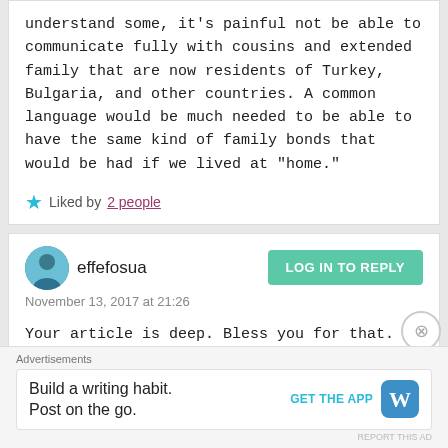understand some, it's painful not be able to communicate fully with cousins and extended family that are now residents of Turkey, Bulgaria, and other countries. A common language would be much needed to be able to have the same kind of family bonds that would be had if we lived at “home."
Liked by 2 people
effefosua
LOG IN TO REPLY
November 13, 2017 at 21:26
Your article is deep. Bless you for that. My parents are also from Ghana. I was born and raised in Germany. I
Advertisements
Build a writing habit. Post on the go.
GET THE APP